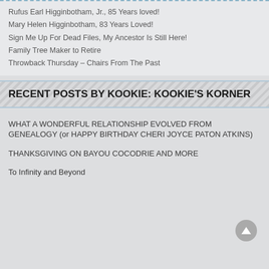Rufus Earl Higginbotham, Jr., 85 Years loved!
Mary Helen Higginbotham, 83 Years Loved!
Sign Me Up For Dead Files, My Ancestor Is Still Here!
Family Tree Maker to Retire
Throwback Thursday – Chairs From The Past
RECENT POSTS BY KOOKIE: KOOKIE'S KORNER
WHAT A WONDERFUL RELATIONSHIP EVOLVED FROM GENEALOGY (or HAPPY BIRTHDAY CHERI JOYCE PATON ATKINS)
THANKSGIVING ON BAYOU COCODRIE AND MORE
To Infinity and Beyond